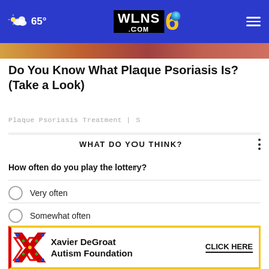65° WLNS6.COM
[Figure (photo): Partial image strip showing warm-toned background image]
Do You Know What Plaque Psoriasis Is? (Take a Look)
Plaque Psoriasis Treatment | S
WHAT DO YOU THINK?
How often do you play the lottery?
Very often
Somewhat often
Not that often
[Figure (advertisement): Xavier DeGroat Autism Foundation advertisement with colorful X logo and CLICK HERE button]